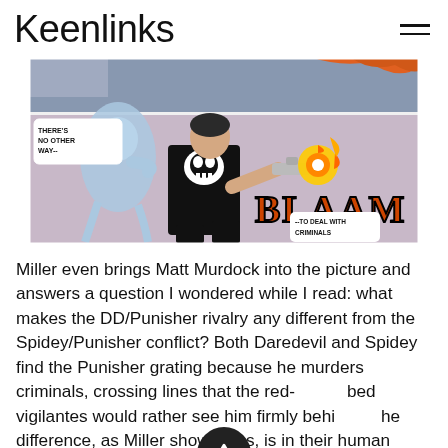Keenlinks
[Figure (illustration): Comic book panel showing the Punisher firing a gun with a 'BLAAM' sound effect, with a ghost-like figure to his left. Speech bubbles read 'THERE'S NO OTHER WAY--' and '--TO DEAL WITH CRIMINALS']
Miller even brings Matt Murdock into the picture and answers a question I wondered while I read: what makes the DD/Punisher rivalry any different from the Spidey/Punisher conflict? Both Daredevil and Spidey find the Punisher grating because he murders criminals, crossing lines that the red-clad vigilantes would rather see him firmly behind. The difference, as Miller showcases, is in their human identities. Both Spidey and